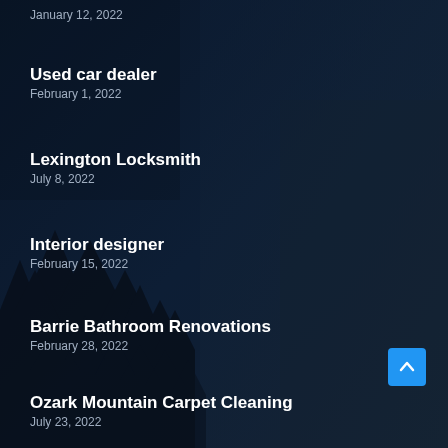January 12, 2022
Used car dealer
February 1, 2022
Lexington Locksmith
July 8, 2022
Interior designer
February 15, 2022
Barrie Bathroom Renovations
February 28, 2022
Ozark Mountain Carpet Cleaning
July 23, 2022